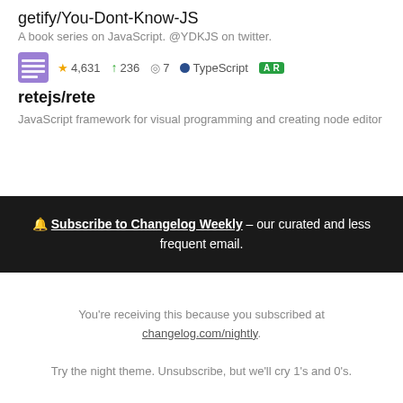getify/You-Dont-Know-JS
A book series on JavaScript. @YDKJS on twitter.
★ 4,631  ↑ 236  ◎ 7  ● TypeScript  AR
retejs/rete
JavaScript framework for visual programming and creating node editor
🔔 Subscribe to Changelog Weekly – our curated and less frequent email.
You're receiving this because you subscribed at changelog.com/nightly.
Try the night theme. Unsubscribe, but we'll cry 1's and 0's.